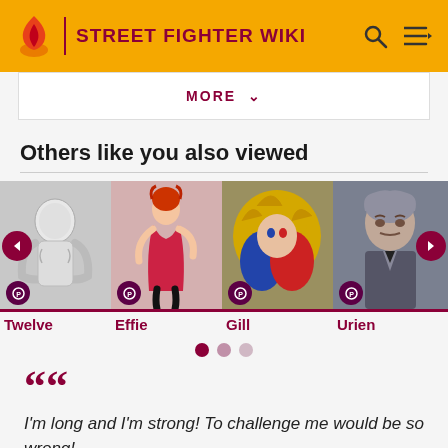STREET FIGHTER WIKI
MORE
Others like you also viewed
[Figure (illustration): Character card for Twelve - sketch-style muscular fighter illustration]
Twelve
[Figure (illustration): Character card for Effie - woman in red dress illustration]
Effie
[Figure (illustration): Character card for Gill - blue and red demon-like character]
Gill
[Figure (photo): Character card for Urien - stern looking man in suit]
Urien
I'm long and I'm strong! To challenge me would be so wrong!
NECRO